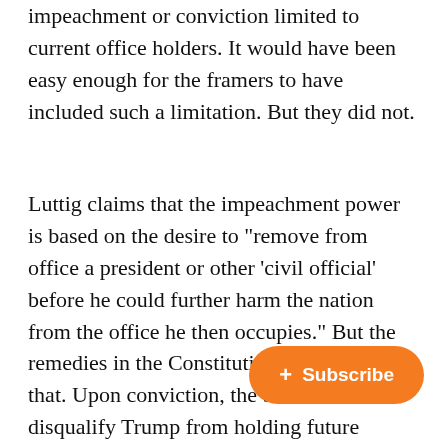impeachment or conviction limited to current office holders. It would have been easy enough for the framers to have included such a limitation. But they did not.
Luttig claims that the impeachment power is based on the desire to "remove from office a president or other 'civil official' before he could further harm the nation from the office he then occupies." But the remedies in the Constitutional text exceed that. Upon conviction, the Senate could disqualify Trump from holding future office. Clearly, the framers were not just concerned with removal but preventing former office holders who engaged in "high Crimes and Misdemeanors" from holding office again.